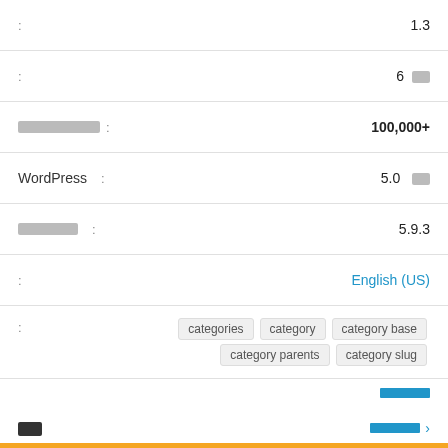| : | 1.3 |
| : | 6 □□ |
| □□□□□□□□ : | 100,000+ |
| WordPress : | 5.0 □□ |
| □□□□□□ : | 5.9.3 |
| : | English (US) |
| : | categories  category  category base  category parents  category slug |
□□□□□
□□
□□□□□ >
[Figure (other): 4.5 star rating shown with 5 stars, 4 filled gold and 1 half gold]